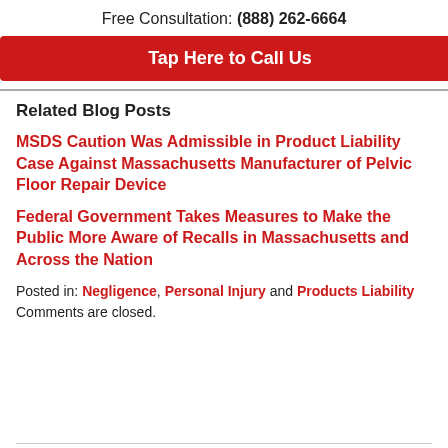Free Consultation: (888) 262-6664
Tap Here to Call Us
Related Blog Posts
MSDS Caution Was Admissible in Product Liability Case Against Massachusetts Manufacturer of Pelvic Floor Repair Device
Federal Government Takes Measures to Make the Public More Aware of Recalls in Massachusetts and Across the Nation
Posted in: Negligence, Personal Injury and Products Liability
Comments are closed.